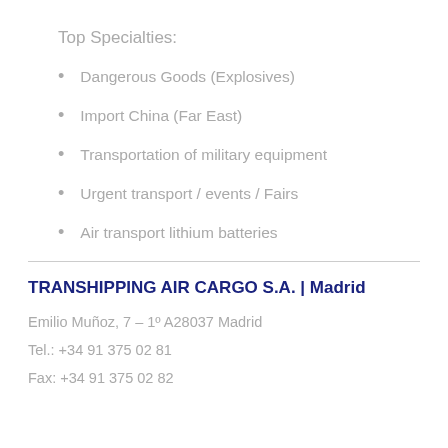Top Specialties:
Dangerous Goods (Explosives)
Import China (Far East)
Transportation of military equipment
Urgent transport / events / Fairs
Air transport lithium batteries
TRANSHIPPING AIR CARGO S.A. | Madrid
Emilio Muñoz, 7 – 1º A28037 Madrid
Tel.: +34 91 375 02 81
Fax: +34 91 375 02 82
Email: aircargo@transhipping.info